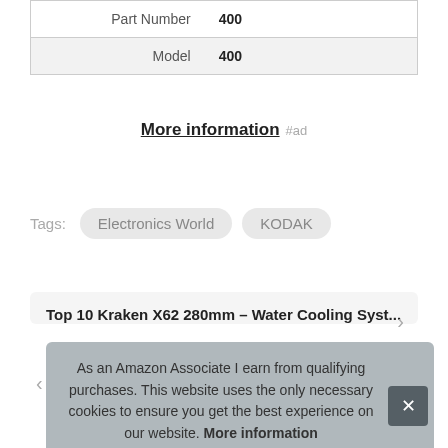| Part Number | 400 |
| Model | 400 |
More information #ad
Tags: Electronics World  KODAK
Top 10 Kraken X62 280mm – Water Cooling Syst...
As an Amazon Associate I earn from qualifying purchases. This website uses the only necessary cookies to ensure you get the best experience on our website. More information